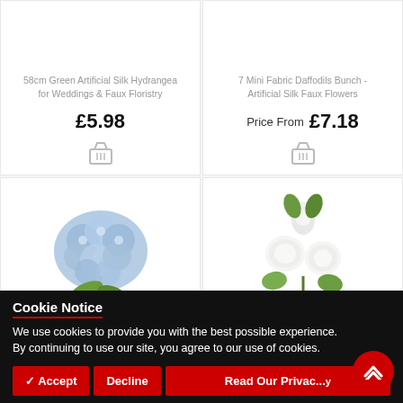58cm Green Artificial Silk Hydrangea for Weddings & Faux Floristry
7 Mini Fabric Daffodils Bunch - Artificial Silk Faux Flowers
£5.98
Price From £7.18
[Figure (photo): Blue artificial silk hydrangea flower on green stem]
[Figure (photo): White artificial roses with green eucalyptus leaves on stem]
Cookie Notice
We use cookies to provide you with the best possible experience. By continuing to use our site, you agree to our use of cookies.
✓ Accept
Decline
Read Our Privacy Policy